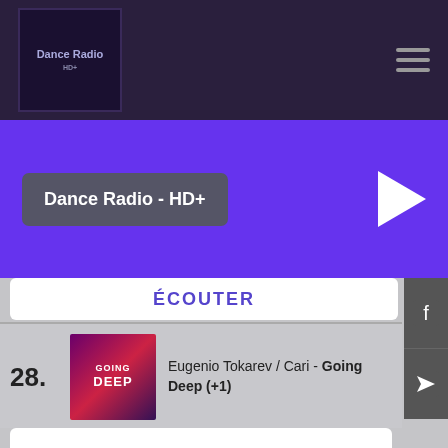Dance Radio - HD+
28. Eugenio Tokarev / Cari - Going Deep (+1)
ÉCOUTER
29. Crubbixz / Rinaly - Without You Beside Me (-8)
ÉCOUTER